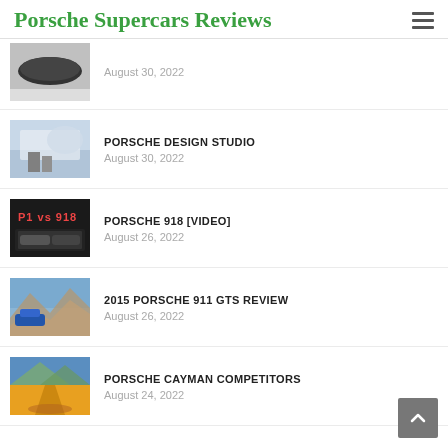Porsche Supercars Reviews
August 30, 2022
PORSCHE DESIGN STUDIO
August 30, 2022
PORSCHE 918 [VIDEO]
August 26, 2022
2015 PORSCHE 911 GTS REVIEW
August 26, 2022
PORSCHE CAYMAN COMPETITORS
August 24, 2022